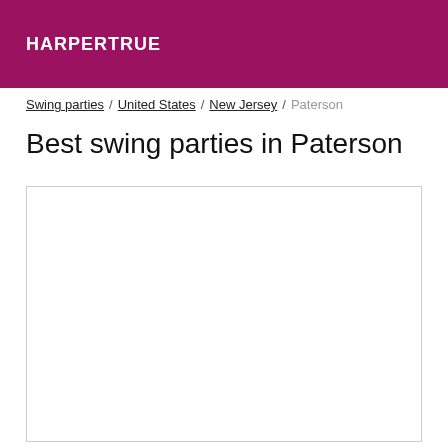HARPERTRUE
Swing parties / United States / New Jersey / Paterson
Best swing parties in Paterson
[Figure (map): Empty map placeholder box for Paterson, New Jersey swing parties]